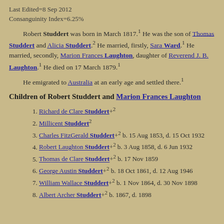Last Edited=8 Sep 2012
Consanguinity Index=6.25%
Robert Studdert was born in March 1817.1 He was the son of Thomas Studdert and Alicia Studdert.2 He married, firstly, Sara Ward.1 He married, secondly, Marion Frances Laughton, daughter of Reverend J. B. Laughton.1 He died on 17 March 1879.1
He emigrated to Australia at an early age and settled there.1
Children of Robert Studdert and Marion Frances Laughton
1. Richard de Clare Studdert+2
2. Millicent Studdert2
3. Charles FitzGerald Studdert+2 b. 15 Aug 1853, d. 15 Oct 1932
4. Robert Laughton Studdert+2 b. 3 Aug 1858, d. 6 Jun 1932
5. Thomas de Clare Studdert+2 b. 17 Nov 1859
6. George Austin Studdert+2 b. 18 Oct 1861, d. 12 Aug 1946
7. William Wallace Studdert+2 b. 1 Nov 1864, d. 30 Nov 1898
8. Albert Archer Studdert+2 b. 1867, d. 1898